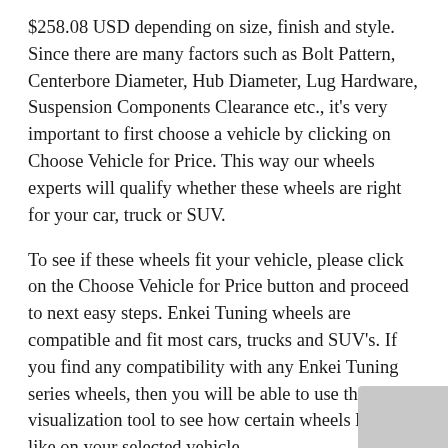$258.08 USD depending on size, finish and style. Since there are many factors such as Bolt Pattern, Centerbore Diameter, Hub Diameter, Lug Hardware, Suspension Components Clearance etc., it's very important to first choose a vehicle by clicking on Choose Vehicle for Price. This way our wheels experts will qualify whether these wheels are right for your car, truck or SUV.
To see if these wheels fit your vehicle, please click on the Choose Vehicle for Price button and proceed to next easy steps. Enkei Tuning wheels are compatible and fit most cars, trucks and SUV's. If you find any compatibility with any Enkei Tuning series wheels, then you will be able to use the wheel visualization tool to see how certain wheels look like on your selected vehicle.